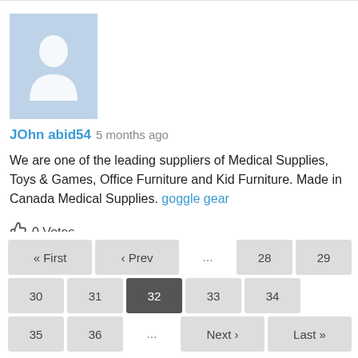[Figure (illustration): Default user avatar - silhouette of a person on a light blue background]
JOhn abid54  5 months ago
We are one of the leading suppliers of Medical Supplies, Toys & Games, Office Furniture and Kid Furniture. Made in Canada Medical Supplies. goggle gear
0 Votes
Vote
« First  ‹ Prev  ...  28  29  30  31  32  33  34  35  36  ...  Next ›  Last »